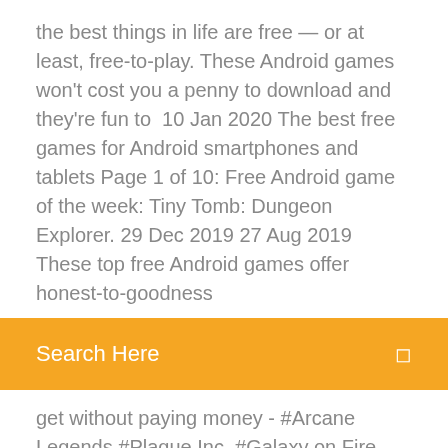the best things in life are free — or at least, free-to-play. These Android games won't cost you a penny to download and they're fun to  10 Jan 2020 The best free games for Android smartphones and tablets Page 1 of 10: Free Android game of the week: Tiny Tomb: Dungeon Explorer. 29 Dec 2019 27 Aug 2019 These top free Android games offer honest-to-goodness
[Figure (other): Orange/amber search bar with 'Search Here' label in white text and a small icon on the right]
get without paying money - #Arcane Legends #Plague Inc. #Galaxy on Fire #Dungeon Hunter #Asphalt 8. Top free android games - Racing games, Platform, Endless runners, Puzzle, match, titles from top developers are available on play store as a free download while our iOS users have to pay for them. 10 Best virtual Piano Apps for AndroiD
4 Jul 2017 In this slideshow, all the listed games come for free on Google Play Best Android Games of 2017: Top 10 free Android apps to download.